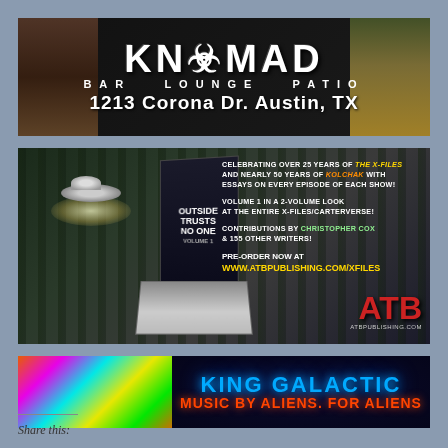[Figure (illustration): KNOMAD Bar Lounge Patio advertisement banner with large stylized text on black background showing address 1213 Corona Dr. Austin, TX with food/drink photos on sides]
[Figure (illustration): ATB Publishing advertisement for X-Files/Kolchak book 'Outside Trusts No One' with UFO flying saucer image, book cover photo, and text about pre-ordering at www.atbpublishing.com/xfiles]
[Figure (illustration): King Galactic advertisement banner with colorful psychedelic art on left and blue/red text reading KING GALACTIC MUSIC BY ALIENS. FOR ALIENS on dark background]
Share this: